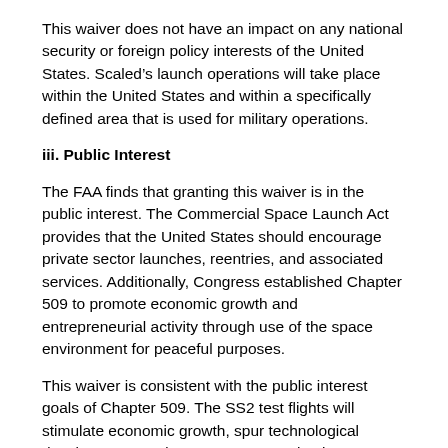This waiver does not have an impact on any national security or foreign policy interests of the United States. Scaled’s launch operations will take place within the United States and within a specifically defined area that is used for military operations.
iii. Public Interest
The FAA finds that granting this waiver is in the public interest. The Commercial Space Launch Act provides that the United States should encourage private sector launches, reentries, and associated services. Additionally, Congress established Chapter 509 to promote economic growth and entrepreneurial activity through use of the space environment for peaceful purposes.
This waiver is consistent with the public interest goals of Chapter 509. The SS2 test flights will stimulate economic growth, spur technological developments and create aerospace business opportunities such as carrying